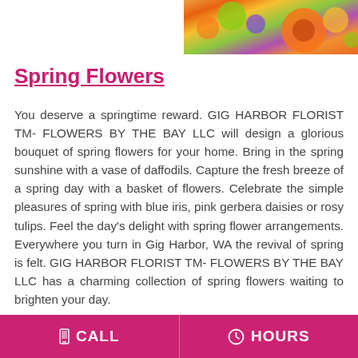[Figure (photo): Colorful spring flower arrangement with orange gerbera daisies, green chrysanthemums, and purple flowers cropped at top right of page]
Spring Flowers
You deserve a springtime reward. GIG HARBOR FLORIST TM- FLOWERS BY THE BAY LLC will design a glorious bouquet of spring flowers for your home. Bring in the spring sunshine with a vase of daffodils. Capture the fresh breeze of a spring day with a basket of flowers. Celebrate the simple pleasures of spring with blue iris, pink gerbera daisies or rosy tulips. Feel the day's delight with spring flower arrangements. Everywhere you turn in Gig Harbor, WA the revival of spring is felt. GIG HARBOR FLORIST TM- FLOWERS BY THE BAY LLC has a charming collection of spring flowers waiting to brighten your day.
CALL   HOURS